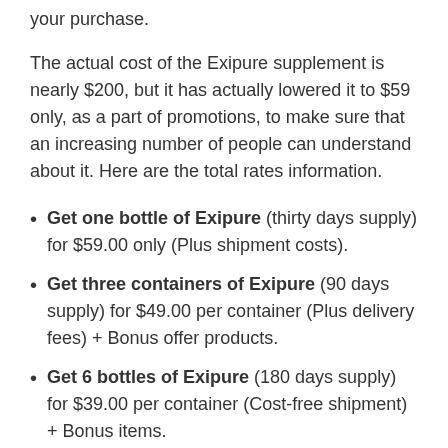your purchase.
The actual cost of the Exipure supplement is nearly $200, but it has actually lowered it to $59 only, as a part of promotions, to make sure that an increasing number of people can understand about it. Here are the total rates information.
Get one bottle of Exipure (thirty days supply) for $59.00 only (Plus shipment costs).
Get three containers of Exipure (90 days supply) for $49.00 per container (Plus delivery fees) + Bonus offer products.
Get 6 bottles of Exipure (180 days supply) for $39.00 per container (Cost-free shipment) + Bonus items.